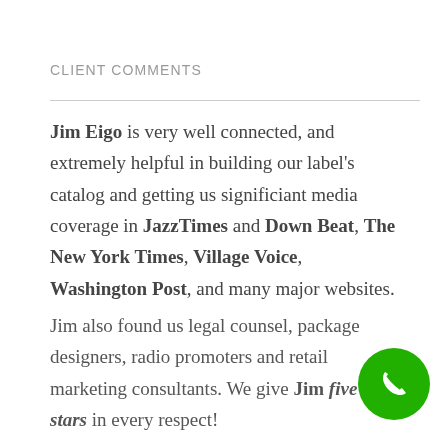CLIENT COMMENTS
Jim Eigo is very well connected, and extremely helpful in building our label's catalog and getting us significiant media coverage in JazzTimes and Down Beat, The New York Times, Village Voice, Washington Post, and many major websites.
Jim also found us legal counsel, package designers, radio promoters and retail marketing consultants. We give Jim five stars in every respect!
[Figure (other): Green circular phone/call button icon in bottom-right corner]